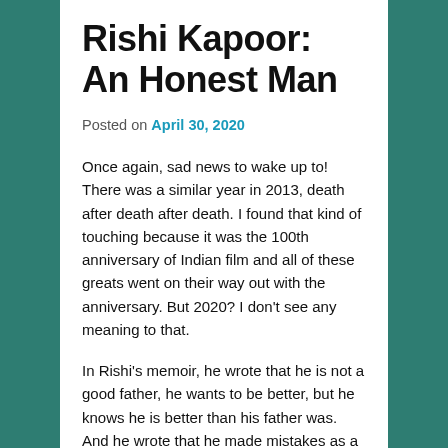Rishi Kapoor: An Honest Man
Posted on April 30, 2020
Once again, sad news to wake up to! There was a similar year in 2013, death after death after death. I found that kind of touching because it was the 100th anniversary of Indian film and all of these greats went on their way out with the anniversary. But 2020? I don't see any meaning to that.
In Rishi's memoir, he wrote that he is not a good father, he wants to be better, but he knows he is better than his father was. And he wrote that he made mistakes as a husband, mistakes as a friend. Mistakes as an actor as well, he was too spoiled when he started, too confident. But he wants to be better. That is a remarkable thing. How many men, born into enormous privilege as he was, wealth and fame and